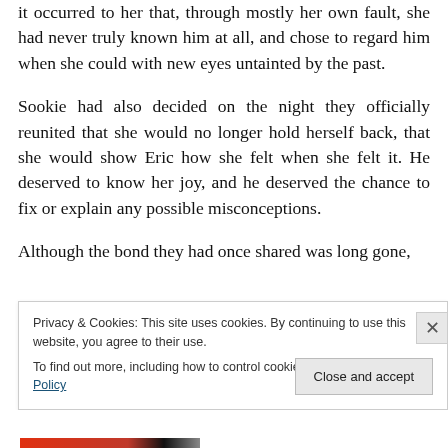it occurred to her that, through mostly her own fault, she had never truly known him at all, and chose to regard him when she could with new eyes untainted by the past.
Sookie had also decided on the night they officially reunited that she would no longer hold herself back, that she would show Eric how she felt when she felt it. He deserved to know her joy, and he deserved the chance to fix or explain any possible misconceptions.
Although the bond they had once shared was long gone,
Privacy & Cookies: This site uses cookies. By continuing to use this website, you agree to their use.
To find out more, including how to control cookies, see here: Cookie Policy